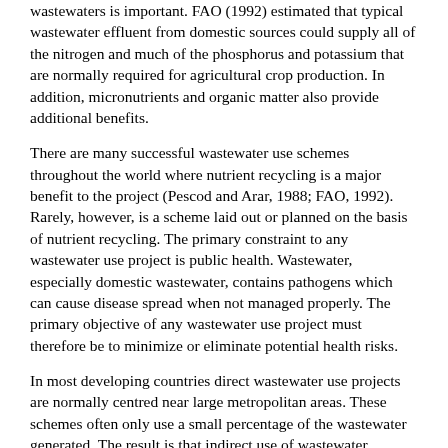wastewaters is important. FAO (1992) estimated that typical wastewater effluent from domestic sources could supply all of the nitrogen and much of the phosphorus and potassium that are normally required for agricultural crop production. In addition, micronutrients and organic matter also provide additional benefits.
There are many successful wastewater use schemes throughout the world where nutrient recycling is a major benefit to the project (Pescod and Arar, 1988; FAO, 1992). Rarely, however, is a scheme laid out or planned on the basis of nutrient recycling. The primary constraint to any wastewater use project is public health. Wastewater, especially domestic wastewater, contains pathogens which can cause disease spread when not managed properly. The primary objective of any wastewater use project must therefore be to minimize or eliminate potential health risks.
In most developing countries direct wastewater use projects are normally centred near large metropolitan areas. These schemes often only use a small percentage of the wastewater generated. The result is that indirect use of wastewater prevails inmost developing countries.
Indirect use occurs when treated, partially treated or untreated wastewater is discharged to reservoirs